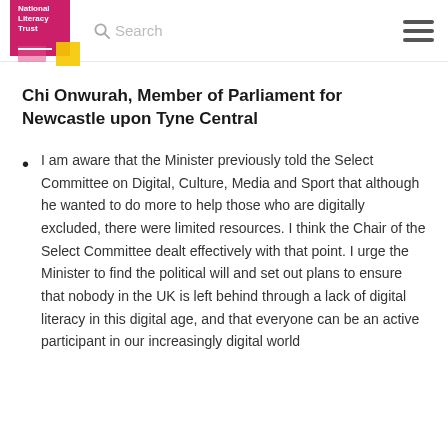[Figure (logo): National Literacy Trust logo — pink square with white text and coloured overlapping squares]
Chi Onwurah, Member of Parliament for Newcastle upon Tyne Central
I am aware that the Minister previously told the Select Committee on Digital, Culture, Media and Sport that although he wanted to do more to help those who are digitally excluded, there were limited resources. I think the Chair of the Select Committee dealt effectively with that point. I urge the Minister to find the political will and set out plans to ensure that nobody in the UK is left behind through a lack of digital literacy in this digital age, and that everyone can be an active participant in our increasingly digital world